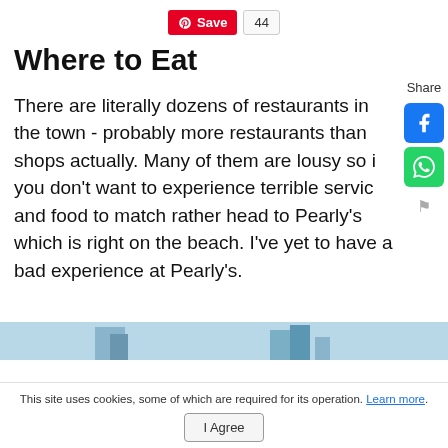[Figure (other): Pinterest Save button with count badge showing 44]
Where to Eat
There are literally dozens of restaurants in the town - probably more restaurants than shops actually. Many of them are lousy so if you don't want to experience terrible service and food to match rather head to Pearly's which is right on the beach. I've yet to have a bad experience at Pearly's.
[Figure (photo): Partial image of beach/water scene at bottom of page]
This site uses cookies, some of which are required for its operation. Learn more.